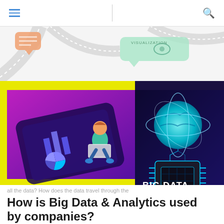Navigation header with hamburger menu and search icon
[Figure (illustration): Top decorative illustration showing roads/paths with speech bubbles including word VISUALIZATION on a light gray background]
[Figure (illustration): Split composite image: left half shows a person sitting on a large smartphone with data analytics charts (purple/magenta gradient background, yellow border); right half shows a glowing blue globe/earth above a circuit board chip on dark navy background with text BIG DATA]
all the data? How does the data travel through the
How is Big Data & Analytics used by companies?